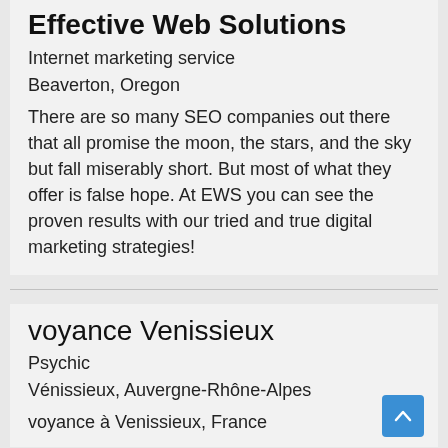Effective Web Solutions
Internet marketing service
Beaverton, Oregon
There are so many SEO companies out there that all promise the moon, the stars, and the sky but fall miserably short. But most of what they offer is false hope. At EWS you can see the proven results with our tried and true digital marketing strategies!
voyance Venissieux
Psychic
Vénissieux, Auvergne-Rhône-Alpes
voyance à Venissieux, France